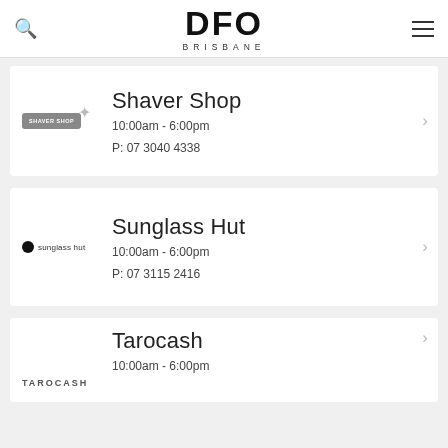DFO BRISBANE
Shaver Shop
10:00am - 6:00pm
P: 07 3040 4338
Sunglass Hut
10:00am - 6:00pm
P: 07 3115 2416
Tarocash
10:00am - 6:00pm